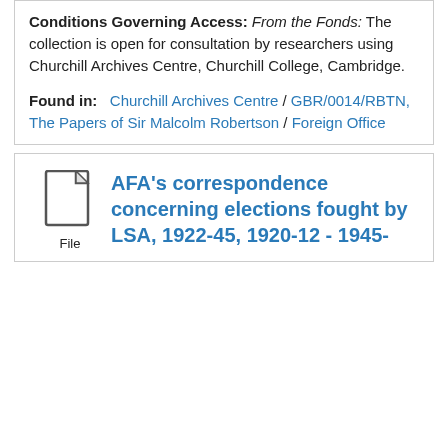Conditions Governing Access: From the Fonds: The collection is open for consultation by researchers using Churchill Archives Centre, Churchill College, Cambridge.
Found in: Churchill Archives Centre / GBR/0014/RBTN, The Papers of Sir Malcolm Robertson / Foreign Office
[Figure (illustration): File document icon with label 'File' below]
AFA's correspondence concerning elections fought by LSA, 1922-45, 1920-12 - 1945-